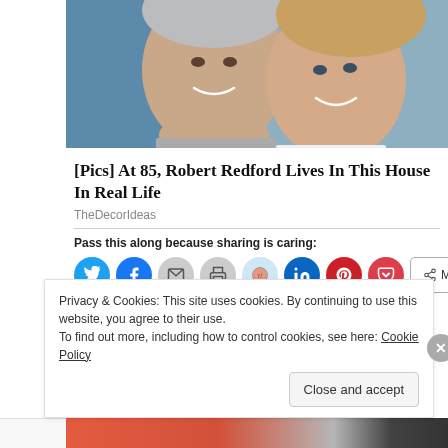[Figure (photo): Smiling elderly couple cheek to cheek — man with gray hair on left, blonde woman on right]
[Pics] At 85, Robert Redford Lives In This House In Real Life
TheDecorIdeas
Pass this along because sharing is caring:
[Figure (infographic): Social share buttons: Twitter, Facebook, Email, Print, Reddit, LinkedIn, Pinterest, Pocket, and a More button]
Privacy & Cookies: This site uses cookies. By continuing to use this website, you agree to their use.
To find out more, including how to control cookies, see here: Cookie Policy
Close and accept